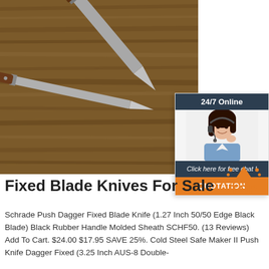[Figure (photo): Two fixed blade knives with wooden handles resting on a wood plank surface, photographed from above. One knife is partially folded/closed and the other has its blade exposed. The knives have brown wood-grain handles with metal rivets.]
[Figure (infographic): Chat widget overlay showing '24/7 Online' header in dark blue/gray, a female customer service agent with headset, 'Click here for free chat!' text, and an orange QUOTATION button.]
[Figure (logo): Orange TOP button with upward-pointing arrow and dot accents, indicating scroll-to-top functionality.]
Fixed Blade Knives For Sale
Schrade Push Dagger Fixed Blade Knife (1.27 Inch 50/50 Edge Black Blade) Black Rubber Handle Molded Sheath SCHF50. (13 Reviews) Add To Cart. $24.00 $17.95 SAVE 25%. Cold Steel Safe Maker II Push Knife Dagger Fixed (3.25 Inch AUS-8 Double-